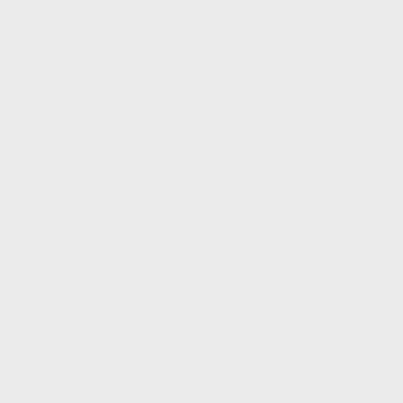C.F.R. Part 51–7)
Agency C.F.R. § 921
Community Development Financial Institutions Fund (12 C.F.R. Part 1815)
National Science Foundation (45 C.F.R. Part 640)
USDA Rural Development (7 C.F.R. Part 1970)
Federal Communications Commission (47 C.F.R. Part
Consumer Product Safety Commission
National Resources Conservation